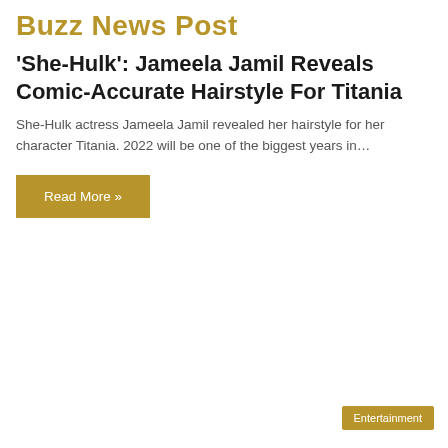Buzz News Post
'She-Hulk': Jameela Jamil Reveals Comic-Accurate Hairstyle For Titania
She-Hulk actress Jameela Jamil revealed her hairstyle for her character Titania. 2022 will be one of the biggest years in…
Read More »
Entertainment